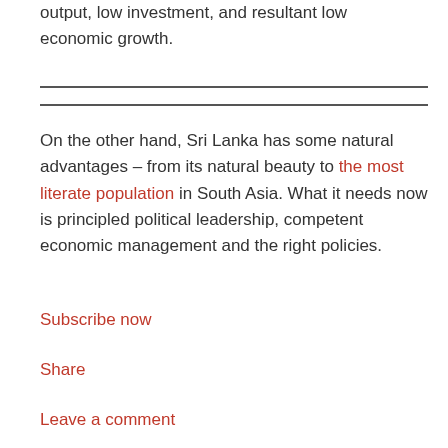output, low investment, and resultant low economic growth.
On the other hand, Sri Lanka has some natural advantages – from its natural beauty to the most literate population in South Asia. What it needs now is principled political leadership, competent economic management and the right policies.
Subscribe now
Share
Leave a comment